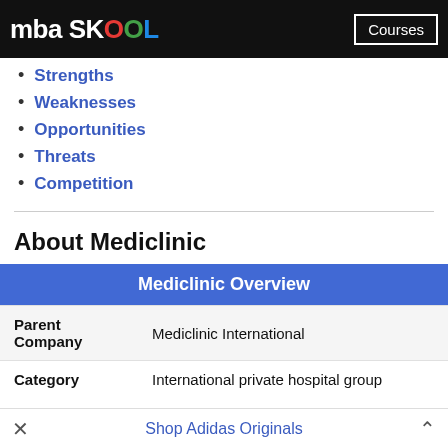mba SKOOL | Courses
Strengths
Weaknesses
Opportunities
Threats
Competition
About Mediclinic
| Mediclinic Overview |  |
| --- | --- |
| Parent Company | Mediclinic International |
| Category | International private hospital group |
| Sector | Pharma and Healthcare |
× Shop Adidas Originals ^